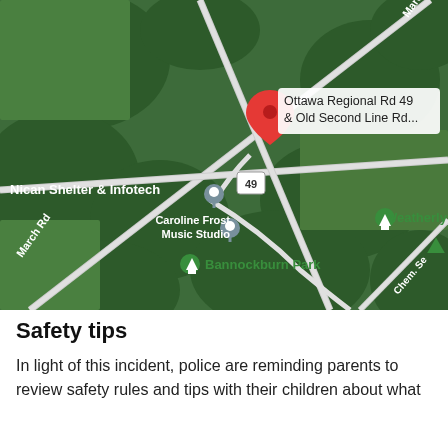[Figure (map): Google Maps satellite view showing Ottawa Regional Rd 49 & Old Second Line Rd intersection area, with labels for Nican Shelter & Infotech, Caroline Frost Music Studio, Weatherly Park, Bannockburn Park, March Rd, and Chem. Se road. A red location pin marks the intersection.]
Safety tips
In light of this incident, police are reminding parents to review safety rules and tips with their children about what